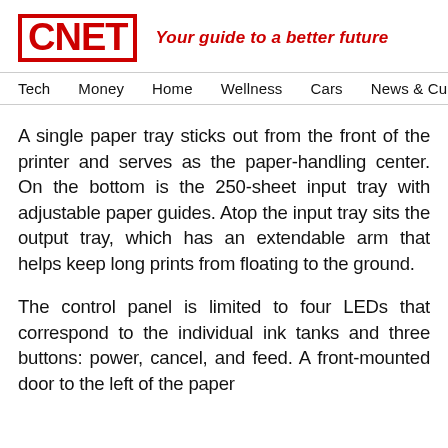CNET — Your guide to a better future
Tech   Money   Home   Wellness   Cars   News & Culture
A single paper tray sticks out from the front of the printer and serves as the paper-handling center. On the bottom is the 250-sheet input tray with adjustable paper guides. Atop the input tray sits the output tray, which has an extendable arm that helps keep long prints from floating to the ground.
The control panel is limited to four LEDs that correspond to the individual ink tanks and three buttons: power, cancel, and feed. A front-mounted door to the left of the paper